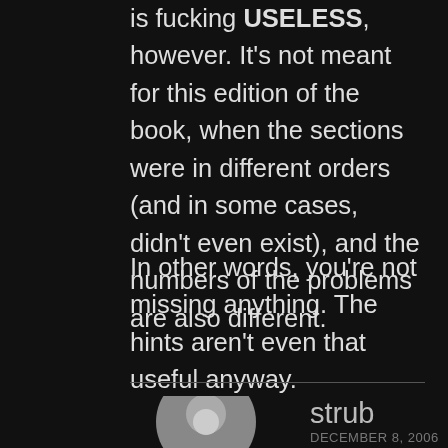is fucking USELESS, however. It's not meant for this edition of the book, when the sections were in different orders (and in some cases, didn't even exist), and the numbers of the problems are also different.
In other words, you're not missing anything. The hints aren't even that useful anyway.
strub
DECEMBER 8, 2006 AT 10:18 AM